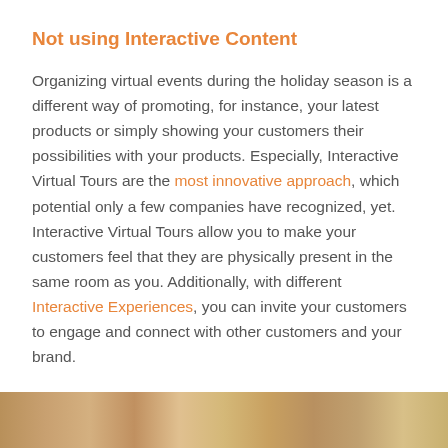Not using Interactive Content
Organizing virtual events during the holiday season is a different way of promoting, for instance, your latest products or simply showing your customers their possibilities with your products. Especially, Interactive Virtual Tours are the most innovative approach, which potential only a few companies have recognized, yet. Interactive Virtual Tours allow you to make your customers feel that they are physically present in the same room as you. Additionally, with different Interactive Experiences, you can invite your customers to engage and connect with other customers and your brand.
[Figure (photo): Bottom strip showing a warm-toned interior room photograph, partially visible at the bottom of the page.]